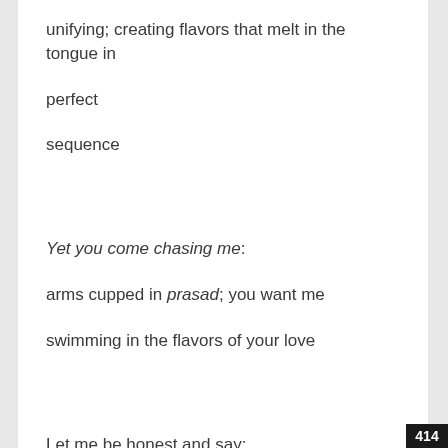unifying; creating flavors that melt in the tongue in perfect
sequence
Yet you come chasing me:
arms cupped in prasad; you want me
swimming in the flavors of your love
Let me be honest and say:
414